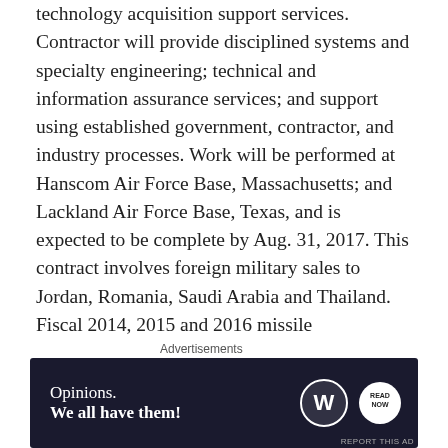technology acquisition support services. Contractor will provide disciplined systems and specialty engineering; technical and information assurance services; and support using established government, contractor, and industry processes. Work will be performed at Hanscom Air Force Base, Massachusetts; and Lackland Air Force Base, Texas, and is expected to be complete by Aug. 31, 2017. This contract involves foreign military sales to Jordan, Romania, Saudi Arabia and Thailand. Fiscal 2014, 2015 and 2016 missile procurement; 2015 and 2016 other procurement; 2015 and 2016 research, development, test, and evaluation; 2016 space procurement; 2016 aircraft procurement; and 2016 operations and maintenance fund
Advertisements
[Figure (other): Advertisement banner with dark navy background showing 'Opinions. We all have them!' with WordPress and another logo on the right.]